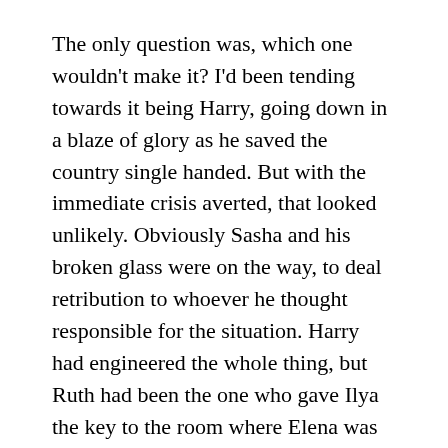The only question was, which one wouldn't make it? I'd been tending towards it being Harry, going down in a blaze of glory as he saved the country single handed. But with the immediate crisis averted, that looked unlikely. Obviously Sasha and his broken glass were on the way, to deal retribution to whoever he thought responsible for the situation. Harry had engineered the whole thing, but Ruth had been the one who gave Ilya the key to the room where Elena was held. All bets were off.
But it was only fitting that, before the inevitable heartbreak, Harry and Ruth got one last scene to resolve their on-off relationship from the last few years. Theirs has been one of